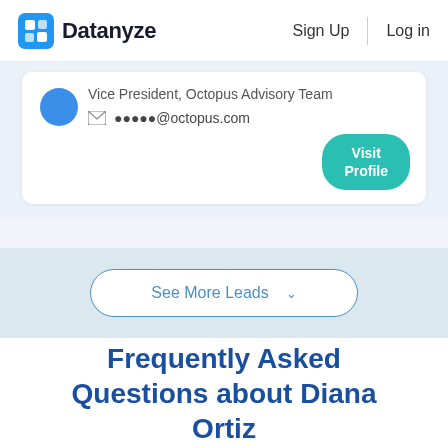Datanyze  Sign Up  Log in
Vice President, Octopus Advisory Team
●●●●●@octopus.com
Visit Profile
See More Leads
Frequently Asked Questions about Diana Ortiz